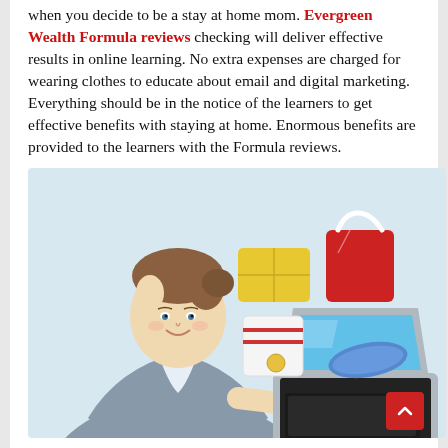when you decide to be a stay at home mom. Evergreen Wealth Formula reviews checking will deliver effective results in online learning. No extra expenses are charged for wearing clothes to educate about email and digital marketing. Everything should be in the notice of the learners to get effective benefits with staying at home. Enormous benefits are provided to the learners with the Formula reviews.
[Figure (illustration): Illustration of a smiling woman in a grey blazer pointing at a laptop, with floating shopping bags and items coming out of the laptop screen.]